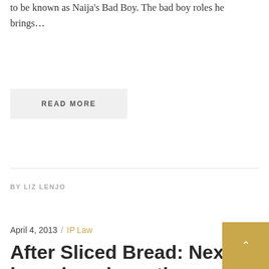to be known as Naija's Bad Boy. The bad boy roles he brings…
READ MORE
BY LIZ LENJO
April 4, 2013 / IP Law
After Sliced Bread: Next ingenious invention please…